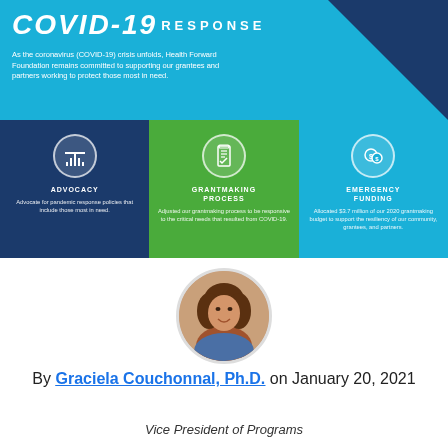[Figure (infographic): COVID-19 Response banner with cyan background, dark blue triangle, large italic title 'COVID-19 RESPONSE' and body text about Health Forward Foundation commitment]
As the coronavirus (COVID-19) crisis unfolds, Health Forward Foundation remains committed to supporting our grantees and partners working to protect those most in need.
[Figure (infographic): Three colored cards: blue card with pillar icon - ADVOCACY; green card with clipboard icon - GRANTMAKING PROCESS; cyan card with coins icon - EMERGENCY FUNDING]
[Figure (photo): Circular portrait photo of Graciela Couchonnal, Ph.D., a woman with dark hair, smiling]
By Graciela Couchonnal, Ph.D. on January 20, 2021
Vice President of Programs